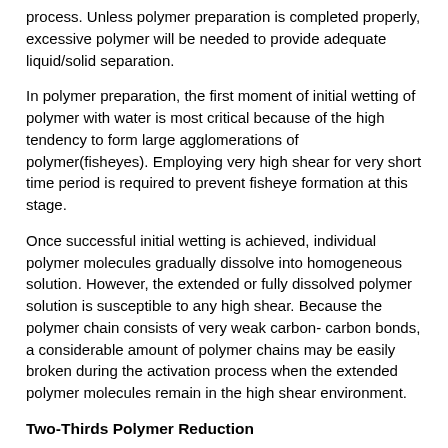process. Unless polymer preparation is completed properly, excessive polymer will be needed to provide adequate liquid/solid separation.
In polymer preparation, the first moment of initial wetting of polymer with water is most critical because of the high tendency to form large agglomerations of polymer(fisheyes). Employing very high shear for very short time period is required to prevent fisheye formation at this stage.
Once successful initial wetting is achieved, individual polymer molecules gradually dissolve into homogeneous solution. However, the extended or fully dissolved polymer solution is susceptible to any high shear. Because the polymer chain consists of very weak carbon- carbon bonds, a considerable amount of polymer chains may be easily broken during the activation process when the extended polymer molecules remain in the high shear environment.
Two-Thirds Polymer Reduction
The difference in polymer consumption with the ProMix unit compared to the plant's existing systems was so significant during the performance trial that management was prompted to quickly